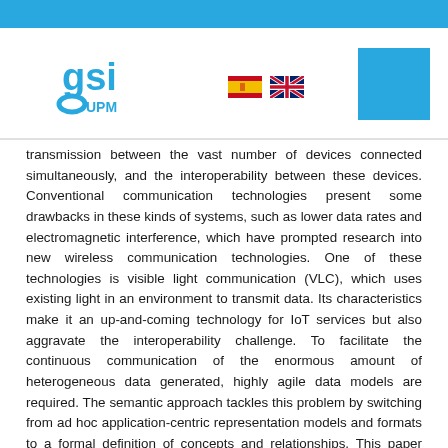[Figure (logo): GSI UPM logo with blue text and circular icon, Spanish and UK flags, blue square box in top right]
transmission between the vast number of devices connected simultaneously, and the interoperability between these devices. Conventional communication technologies present some drawbacks in these kinds of systems, such as lower data rates and electromagnetic interference, which have prompted research into new wireless communication technologies. One of these technologies is visible light communication (VLC), which uses existing light in an environment to transmit data. Its characteristics make it an up-and-coming technology for IoT services but also aggravate the interoperability challenge. To facilitate the continuous communication of the enormous amount of heterogeneous data generated, highly agile data models are required. The semantic approach tackles this problem by switching from ad hoc application-centric representation models and formats to a formal definition of concepts and relationships. This paper aims to advance the state of the art by proposing a semantic vocabulary for an intelligent automation platform with VLC enabled, which